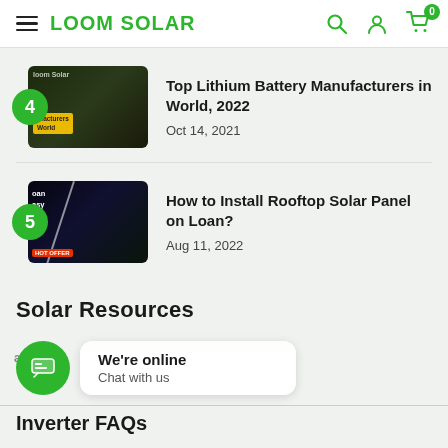LOOM SOLAR
[Figure (screenshot): Thumbnail image for blog post 4: Top Lithium Battery Manufacturers in World, 2022 - dark green textured surface with Loom Solar branding]
Top Lithium Battery Manufacturers in World, 2022
Oct 14, 2021
[Figure (screenshot): Thumbnail image for blog post 5: How to Install Rooftop Solar Panel on Loan - dark image with diagonal white line and person on rooftop]
How to Install Rooftop Solar Panel on Loan?
Aug 11, 2022
Solar Resources
We're online
Chat with us
Inverter FAQs